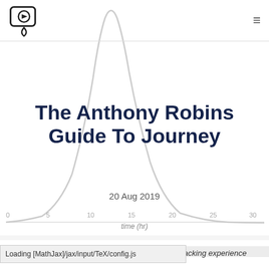[Figure (logo): Website logo: a play button inside a camera/location pin frame icon]
[Figure (continuous-plot): A bell-curve / normal distribution line graph shown in light gray, with x-axis labeled 'time (hr)' with tick marks at 0, 5, 10, 15, 20, 25, 30]
The Anthony Robins Guide To Journey
20 Aug 2019
Loading [MathJax]/jax/input/TeX/config.js
wracking experience